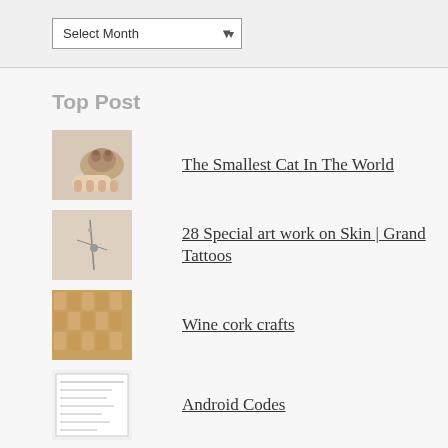[Figure (screenshot): Dropdown widget labeled 'Select Month' with a downward arrow]
Top Post
The Smallest Cat In The World
28 Special art work on Skin | Grand Tattoos
Wine cork crafts
Android Codes
Alt key codes or the Word Symbol